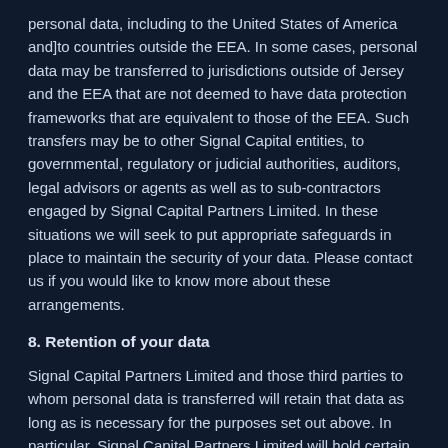personal data, including to the United States of America and]to countries outside the EEA. In some cases, personal data may be transferred to jurisdictions outside of Jersey and the EEA that are not deemed to have data protection frameworks that are equivalent to those of the EEA. Such transfers may be to other Signal Capital entities, to governmental, regulatory or judicial authorities, auditors, legal advisors or agents as well as to sub-contractors engaged by Signal Capital Partners Limited. In these situations we will seek to put appropriate safeguards in place to maintain the security of your data. Please contact us if you would like to know more about these arrangements.
8. Retention of your data
Signal Capital Partners Limited and those third parties to whom personal data is transferred will retain that data as long as is necessary for the purposes set out above. In particular, Signal Capital Partners Limited will hold certain personal data and other